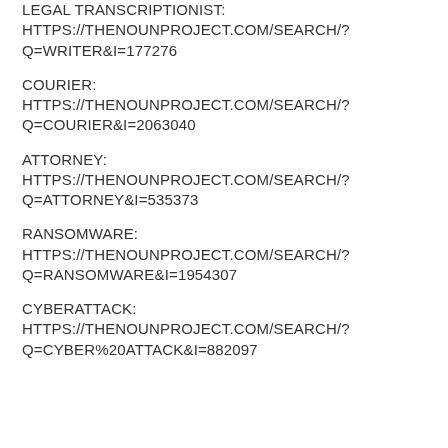LEGAL TRANSCRIPTIONIST: HTTPS://THENOUNPROJECT.COM/SEARCH/?Q=WRITER&I=177276
COURIER: HTTPS://THENOUNPROJECT.COM/SEARCH/?Q=COURIER&I=2063040
ATTORNEY: HTTPS://THENOUNPROJECT.COM/SEARCH/?Q=ATTORNEY&I=535373
RANSOMWARE: HTTPS://THENOUNPROJECT.COM/SEARCH/?Q=RANSOMWARE&I=1954307
CYBERATTACK: HTTPS://THENOUNPROJECT.COM/SEARCH/?Q=CYBER%20ATTACK&I=882097